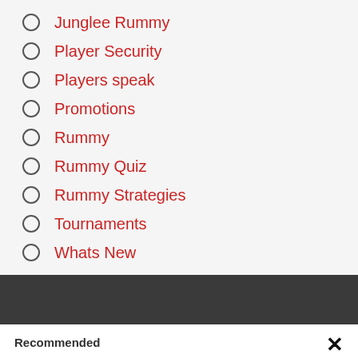Junglee Rummy
Player Security
Players speak
Promotions
Rummy
Rummy Quiz
Rummy Strategies
Tournaments
Whats New
Recommended
Junglee Rummy Fantastic Five Rummy Promotion
How good are you in Points Rummy cash games? It's...